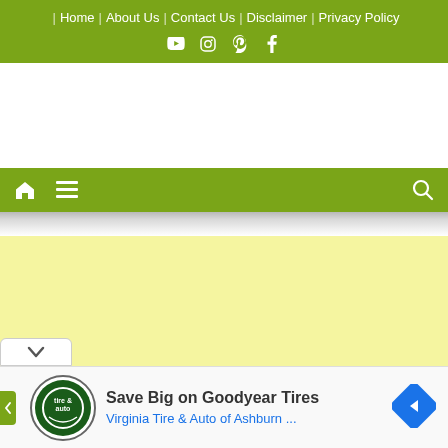| Home | About Us | Contact Us | Disclaimer | Privacy Policy
[Figure (screenshot): Social media icons: YouTube, Instagram, Pinterest, Facebook]
[Figure (screenshot): Green navigation toolbar with home icon, hamburger menu, and search icon]
[Figure (screenshot): Yellow advertisement banner area with collapse button]
[Figure (screenshot): Ad card: Save Big on Goodyear Tires - Virginia Tire & Auto of Ashburn with logo and navigation arrow]